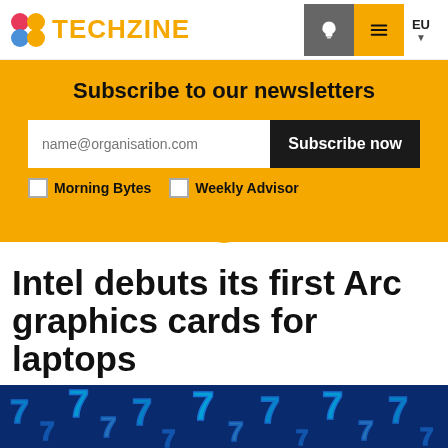TECHZINE
Subscribe to our newsletters
name@organisation.com   Subscribe now
Morning Bytes   Weekly Advisor
Intel debuts its first Arc graphics cards for laptops
[Figure (photo): Blue toned background image with glowing digital number 7 patterns, suggesting circuit/tech theme]